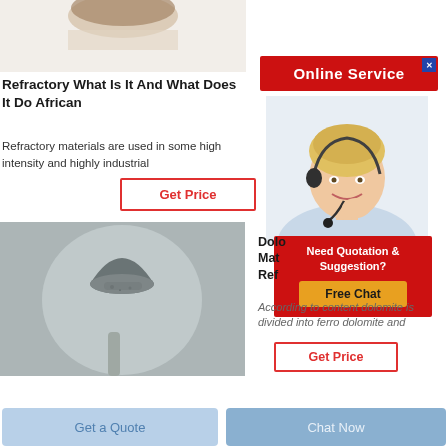[Figure (photo): Top portion of a product/refractory material image, brown/beige object on white background]
Refractory What Is It And What Does It Do African
Refractory materials are used in some high intensity and highly industrial
Get Price
[Figure (photo): A conical/bullet shaped pile of grey powder or granular material on a metal spoon against a grey background]
[Figure (screenshot): Online Service banner with red background showing a customer service agent (blonde woman with headset) and a Need Quotation & Suggestion popup with Free Chat button]
Dolomite Mat Ref
According to content dolomite is divided into ferro dolomite and
Get Price
Get a Quote
Chat Now